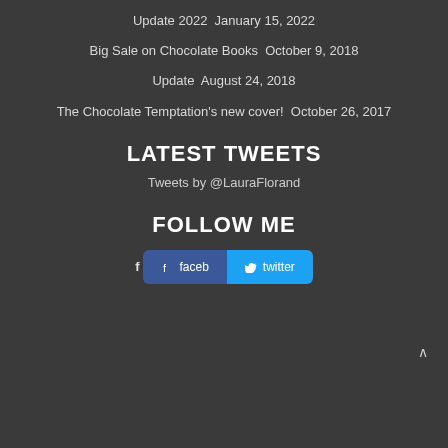Update 2022 January 15, 2022
Big Sale on Chocolate Books October 9, 2018
Update August 24, 2018
The Chocolate Temptation's new cover! October 26, 2017
LATEST TWEETS
Tweets by @LauraFlorand
FOLLOW ME
[Figure (other): Social media buttons: Facebook and Twitter icons with labels 'facebook' and 'twitter']